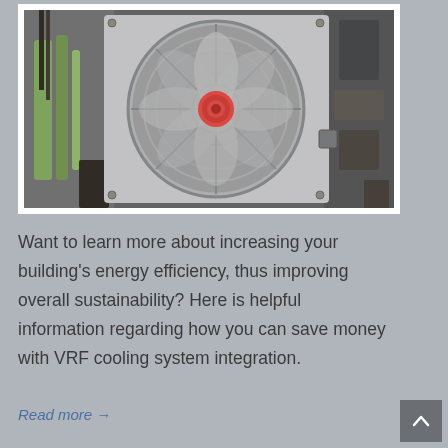[Figure (photo): Close-up photograph of an industrial cooling fan with a transparent plastic guard, showing spinning blades with red center hub, surrounded by electrical wiring and hardware components, with a retro-filtered color tone.]
Want to learn more about increasing your building's energy efficiency, thus improving overall sustainability? Here is helpful information regarding how you can save money with VRF cooling system integration.
Read more →